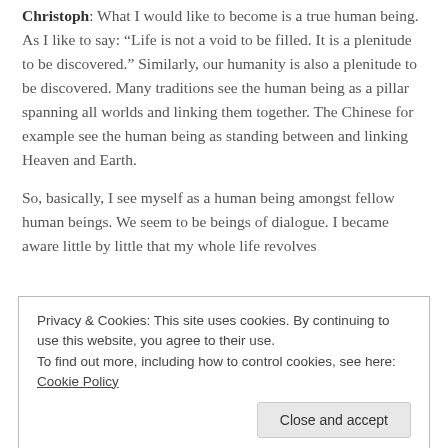Christoph: What I would like to become is a true human being. As I like to say: “Life is not a void to be filled. It is a plenitude to be discovered.” Similarly, our humanity is also a plenitude to be discovered. Many traditions see the human being as a pillar spanning all worlds and linking them together. The Chinese for example see the human being as standing between and linking Heaven and Earth.
So, basically, I see myself as a human being amongst fellow human beings. We seem to be beings of dialogue. I became aware little by little that my whole life revolves
Privacy & Cookies: This site uses cookies. By continuing to use this website, you agree to their use.
To find out more, including how to control cookies, see here: Cookie Policy
discoverers. Our discoveries teach us. So, we are all